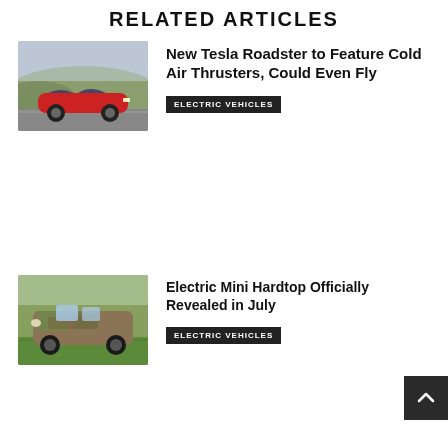RELATED ARTICLES
[Figure (photo): Red Tesla Roadster sports car driving on a road with hills in background]
New Tesla Roadster to Feature Cold Air Thrusters, Could Even Fly
ELECTRIC VEHICLES
[Figure (photo): Electric Mini Hardtop car with camouflage wrap parked on a green surface]
Electric Mini Hardtop Officially Revealed in July
ELECTRIC VEHICLES